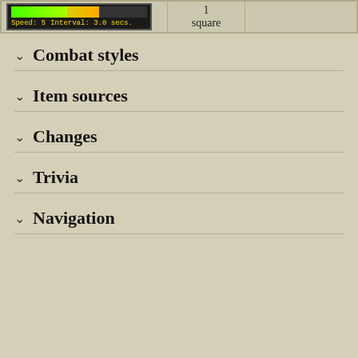[Figure (screenshot): Game UI screenshot showing speed bar (green and yellow) with Speed: 5 and Interval: 3.0 secs. labels, next to a table cell showing '1 square']
Combat styles
Item sources
Changes
Trivia
Navigation